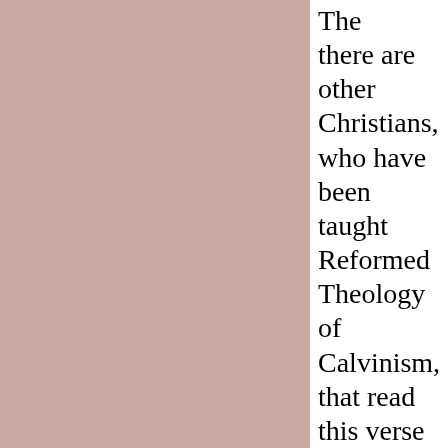[Figure (other): Large mauve/dusty rose colored rectangular panel occupying the left two-thirds of the page]
The there are other Christians, who have been taught Reformed Theology of Calvinism, that read this verse taken out of context and